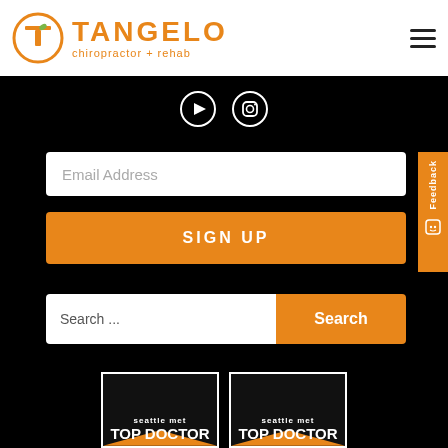[Figure (logo): Tangelo Chiropractor + Rehab logo with orange circle T icon and text]
[Figure (illustration): YouTube and Instagram social media icons in white circles on black background]
Email Address
SIGN UP
Feedback
Search ...
Search
[Figure (logo): Seattle Met Top Doctor badge 1]
[Figure (logo): Seattle Met Top Doctor badge 2]